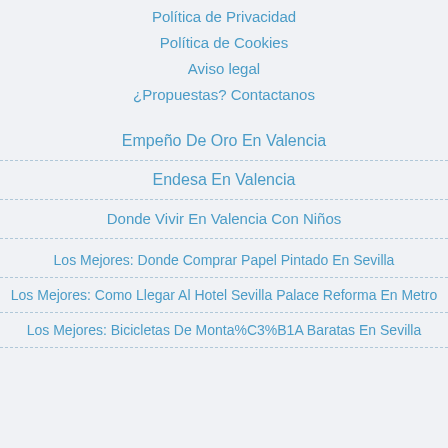Política de Privacidad
Política de Cookies
Aviso legal
¿Propuestas? Contactanos
Empeño De Oro En Valencia
Endesa En Valencia
Donde Vivir En Valencia Con Niños
Los Mejores: Donde Comprar Papel Pintado En Sevilla
Los Mejores: Como Llegar Al Hotel Sevilla Palace Reforma En Metro
Los Mejores: Bicicletas De Monta%C3%B1A Baratas En Sevilla